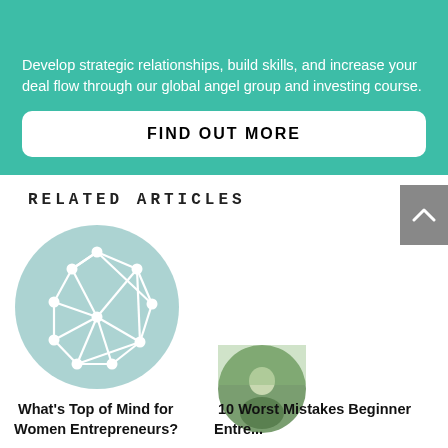Develop strategic relationships, build skills, and increase your deal flow through our global angel group and investing course.
FIND OUT MORE
RELATED ARTICLES
[Figure (illustration): A circular icon with a light teal/blue background showing a geometric network/polygon shape made of white lines and dots]
What's Top of Mind for Women Entrepreneurs?
[Figure (photo): A circular cropped photo of a woman outdoors with greenery in background]
10 Worst Mistakes Beginner Entre...